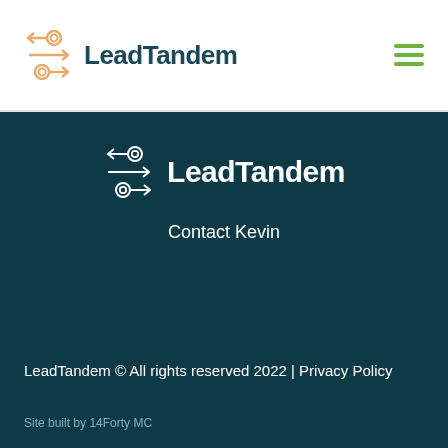[Figure (logo): LeadTandem logo with orange icon and dark teal text in white header bar]
[Figure (logo): LeadTandem logo with white icon and white text in dark teal section]
Contact Kevin
LeadTandem © All rights reserved 2022 | Privacy Policy
Site built by 14Forty MC